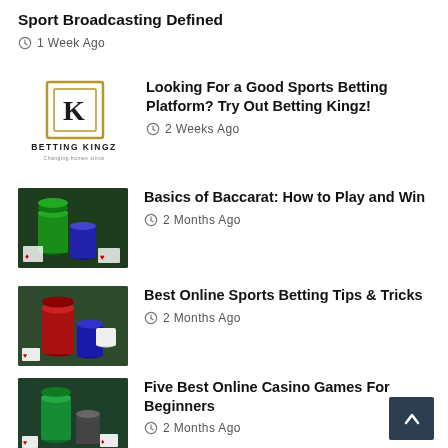Sport Broadcasting Defined
1 Week Ago
[Figure (logo): Betting Kingz logo with a stylized K inside a rectangle and text BETTING KINGZ below]
Looking For a Good Sports Betting Platform? Try Out Betting Kingz!
2 Weeks Ago
[Figure (photo): Green casino poker chips stacked on a table with playing cards]
Basics of Baccarat: How to Play and Win
2 Months Ago
[Figure (photo): Stacked colorful poker chips on a table with playing cards]
Best Online Sports Betting Tips & Tricks
2 Months Ago
[Figure (photo): Green casino poker chips stacked with playing cards on a blue surface]
Five Best Online Casino Games For Beginners
2 Months Ago